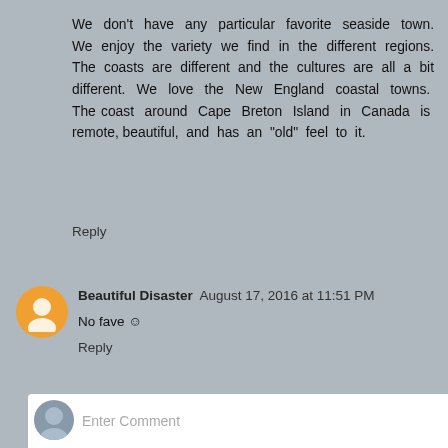We don't have any particular favorite seaside town. We enjoy the variety we find in the different regions. The coasts are different and the cultures are all a bit different. We love the New England coastal towns. The coast around Cape Breton Island in Canada is remote, beautiful, and has an "old" feel to it.
Reply
Beautiful Disaster  August 17, 2016 at 11:51 PM
No fave ☺
Reply
bn100  August 18, 2016 at 10:21 PM
no fav
Reply
Enter Comment